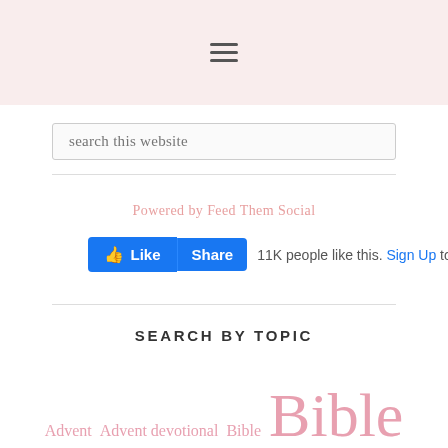[Figure (other): Hamburger menu icon (three horizontal lines) on a light pink background header bar]
[Figure (screenshot): Search box with placeholder text 'search this website']
Powered by Feed Them Social
[Figure (other): Facebook Like and Share buttons followed by text '11K people like this. Sign Up to see w']
SEARCH BY TOPIC
Advent Advent devotional Bible Bible study Bible study series Christ Christmas